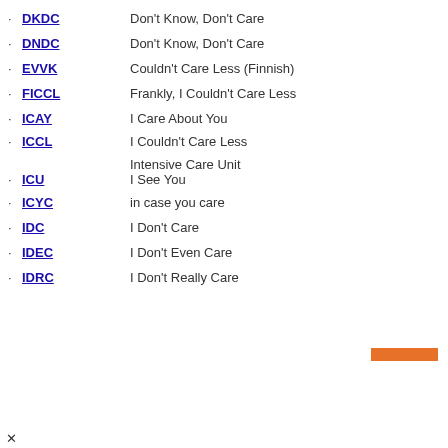DKDC - Don't Know, Don't Care
DNDC - Don't Know, Don't Care
EVVK - Couldn't Care Less (Finnish)
FICCL - Frankly, I Couldn't Care Less
ICAY - I Care About You
ICCL - I Couldn't Care Less
ICU - Intensive Care Unit / I See You
ICYC - in case you care
IDC - I Don't Care
IDEC - I Don't Even Care
IDRC - I Don't Really Care